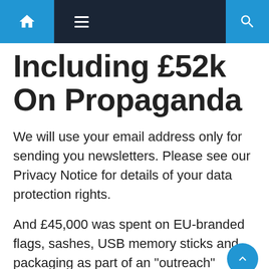Navigation bar with home, menu, and search icons
Including £52k On Propaganda
We will use your email address only for sending you newsletters. Please see our Privacy Notice for details of your data protection rights.
And £45,000 was spent on EU-branded flags, sashes, USB memory sticks and packaging as part of an “outreach” programme by the Committee of the